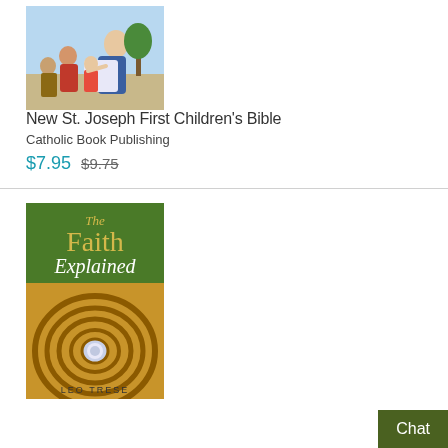[Figure (illustration): Book cover of 'New St. Joseph First Children's Bible' showing Jesus with children]
New St. Joseph First Children's Bible
Catholic Book Publishing
$7.95  $9.75
[Figure (illustration): Book cover of 'The Faith Explained' by Leo Trese, green cover with golden spiral staircase]
Chat